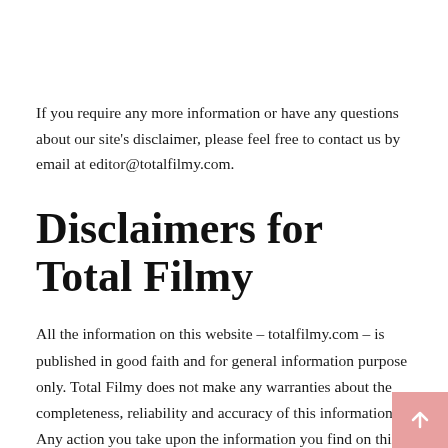If you require any more information or have any questions about our site's disclaimer, please feel free to contact us by email at editor@totalfilmy.com.
Disclaimers for Total Filmy
All the information on this website – totalfilmy.com – is published in good faith and for general information purpose only. Total Filmy does not make any warranties about the completeness, reliability and accuracy of this information. Any action you take upon the information you find on this website (Total Filmy), is strictly at your own risk. Total Filmy will not be liable for any losses and/or damages in connection with the use of our website.